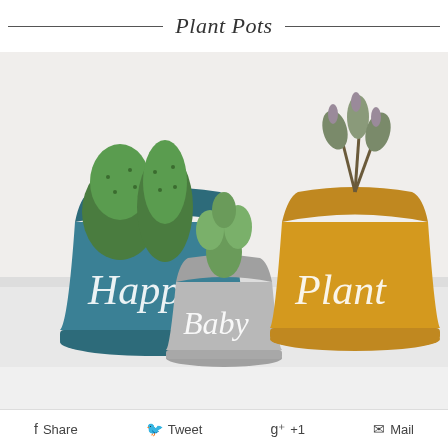Plant Pots
[Figure (photo): Three painted terracotta plant pots with cacti and succulents. Left pot is teal/dark blue with 'Happy' written in white script, center is a small gray pot with 'Baby' in white script, right is mustard yellow with 'Plant' in white script. All sit on matching saucers on a white surface.]
Share  Tweet  g+ +1  Mail